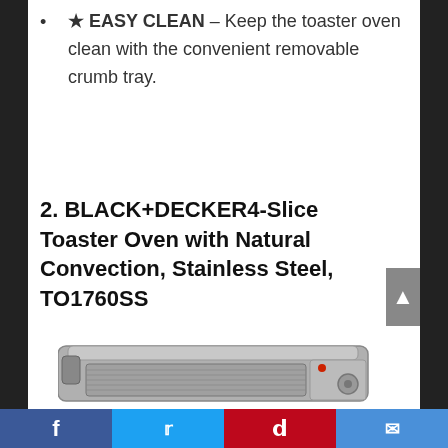★ EASY CLEAN – Keep the toaster oven clean with the convenient removable crumb tray.
2. BLACK+DECKER4-Slice Toaster Oven with Natural Convection, Stainless Steel, TO1760SS
[Figure (photo): Photo of a stainless steel BLACK+DECKER 4-slice toaster oven, partially visible at bottom of page.]
Social share bar with Facebook, Twitter, Pinterest, and Email icons